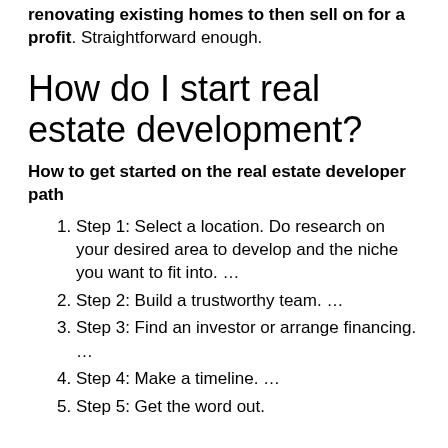renovating existing homes to then sell on for a profit. Straightforward enough.
How do I start real estate development?
How to get started on the real estate developer path
Step 1: Select a location. Do research on your desired area to develop and the niche you want to fit into. …
Step 2: Build a trustworthy team. …
Step 3: Find an investor or arrange financing. …
Step 4: Make a timeline. …
Step 5: Get the word out.